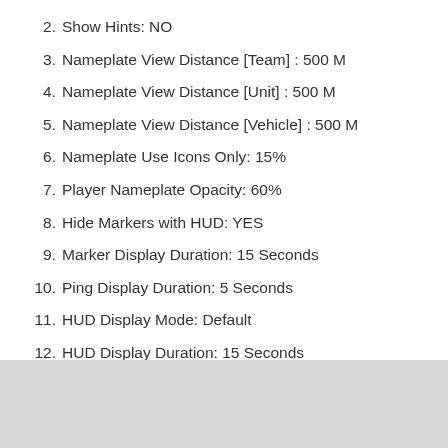2. Show Hints: NO
3. Nameplate View Distance [Team] : 500 M
4. Nameplate View Distance [Unit] : 500 M
5. Nameplate View Distance [Vehicle] : 500 M
6. Nameplate Use Icons Only: 15%
7. Player Nameplate Opacity: 60%
8. Hide Markers with HUD: YES
9. Marker Display Duration: 15 Seconds
10. Ping Display Duration: 5 Seconds
11. HUD Display Mode: Default
12. HUD Display Duration: 15 Seconds